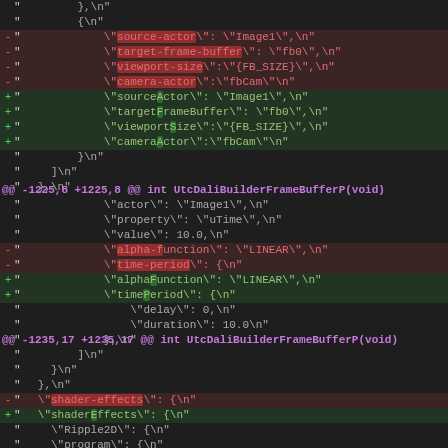Diff output showing renamed JSON keys from snake_case to camelCase in UtcDaliBuilderFrameBufferP test
@@ -1225,8 +1225,8 @@ int UtcDaliBuilderFrameBufferP(void)
@@ -1235,17 +1235,17 @@ int UtcDaliBuilderFrameBufferP(void)